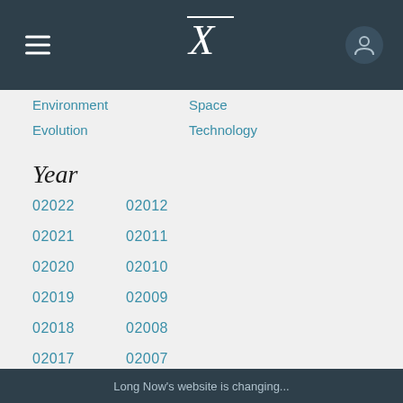Long Now Foundation - X logo, hamburger menu, user icon
Environment
Space
Evolution
Technology
Year
02022
02012
02021
02011
02020
02010
02019
02009
02018
02008
02017
02007
02016
02006
02015
02005
02014
02004
02013
OLDER
Long Now's website is changing...